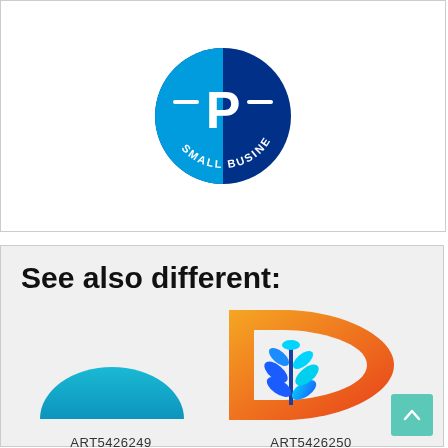[Figure (logo): PayPal Small Business circular logo badge in blue]
See also different:
[Figure (logo): Partial teal/blue arc logo for ART5426249]
ART5426249
$85.00
[Figure (logo): Orange gradient D-letter logo with blue wheat/leaf icon for ART5426250]
ART5426250
$85.00